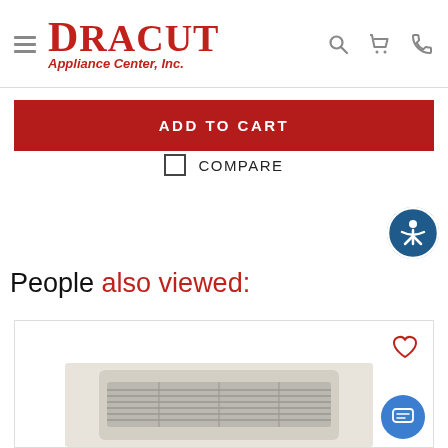Dracut Appliance Center, Inc.
ADD TO CART
COMPARE
People also viewed:
[Figure (photo): Wall-mounted heater appliance shown in a product card with a heart/wishlist icon]